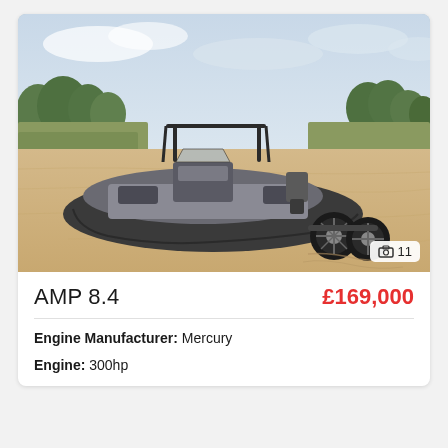[Figure (photo): Amphibious RIB boat (AMP 8.4) with grey inflatable hull, T-top, and large off-road wheels at the stern, sitting on a sandy beach with dunes and trees in the background. Photo badge showing 11 images.]
AMP 8.4
£169,000
Engine Manufacturer: Mercury
Engine: 300hp